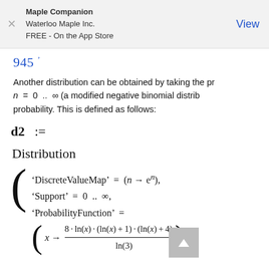Maple Companion
Waterloo Maple Inc.
FREE - On the App Store
View
945
Another distribution can be obtained by taking the pr n = 0 .. ∞ (a modified negative binomial distrib probability. This is defined as follows: